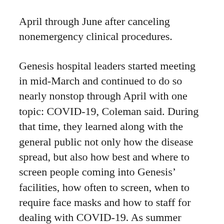April through June after canceling nonemergency clinical procedures.
Genesis hospital leaders started meeting in mid-March and continued to do so nearly nonstop through April with one topic: COVID-19, Coleman said. During that time, they learned along with the general public not only how the disease spread, but also how best and where to screen people coming into Genesis’ facilities, how often to screen, when to require face masks and how to staff for dealing with COVID-19. As summer came and went, hospital leaders believed they had a better grip on treating the virus than they did in March, he said. Federal government stimulus money helped